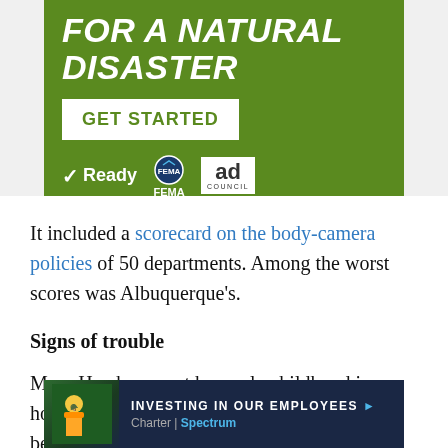[Figure (advertisement): Green FEMA/Ad Council advertisement banner for natural disaster preparedness. White italic bold text reading 'FOR A NATURAL DISASTER', white bordered button with green text 'GET STARTED', and logos for Ready, FEMA, and Ad Council at the bottom.]
It included a scorecard on the body-camera policies of 50 departments. Among the worst scores was Albuquerque's.
Signs of trouble
Mary Hawkes spent her early childhood in a home riven by alcoholism and abuse before being adopted by the
[Figure (advertisement): Dark blue Charter/Spectrum advertisement with a worker in safety gear on the left, text 'INVESTING IN OUR EMPLOYEES' with arrow, and Charter Spectrum logo on the right.]